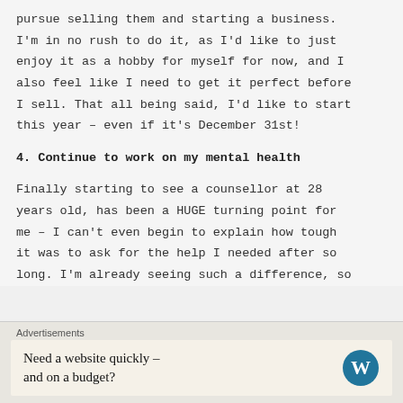pursue selling them and starting a business. I'm in no rush to do it, as I'd like to just enjoy it as a hobby for myself for now, and I also feel like I need to get it perfect before I sell. That all being said, I'd like to start this year – even if it's December 31st!
4. Continue to work on my mental health
Finally starting to see a counsellor at 28 years old, has been a HUGE turning point for me – I can't even begin to explain how tough it was to ask for the help I needed after so long. I'm already seeing such a difference, so
Advertisements
Need a website quickly – and on a budget?